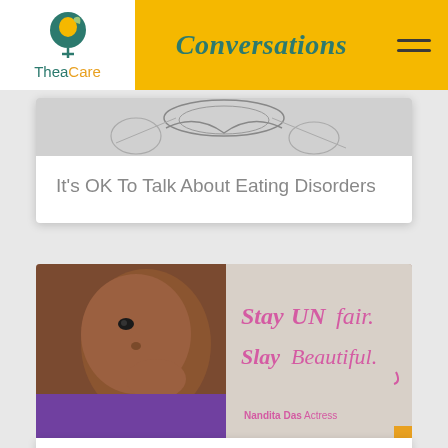Conversations
[Figure (logo): TheaCare logo with teal female symbol icon and gold/teal text]
[Figure (illustration): Partial sketch/illustration image at top of article card about eating disorders]
It's OK To Talk About Eating Disorders
[Figure (photo): Photo of Nandita Das actress with text 'Stay UNfair. Stay Beautiful. Nandita Das Actress' in pink cursive font]
Un(FAIR) India: When "fairness" gets under